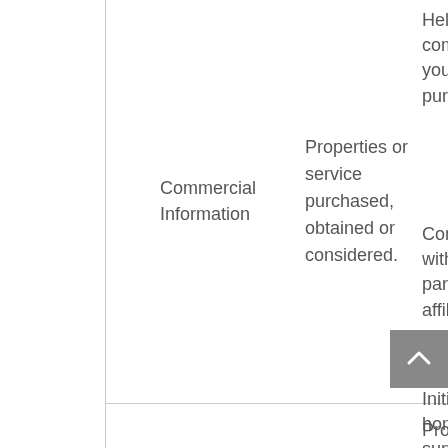| Category | Data Collected | Purpose |
| --- | --- | --- |
| Commercial Information | Properties or service purchased, obtained or considered. | Help you complete your purchase.
Connect you with our partners and affiliates.
Initiate new homeowner surveys.
Process your transactions. |
|  |  | Provide you with targeted |